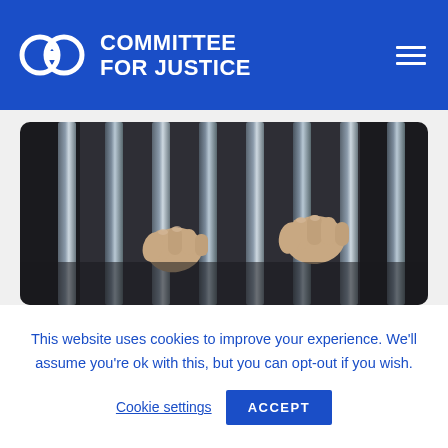COMMITTEE FOR JUSTICE
[Figure (photo): Two hands gripping prison bars from behind, close-up photograph with dark background and metallic vertical bars]
This website uses cookies to improve your experience. We'll assume you're ok with this, but you can opt-out if you wish.
Cookie settings  ACCEPT